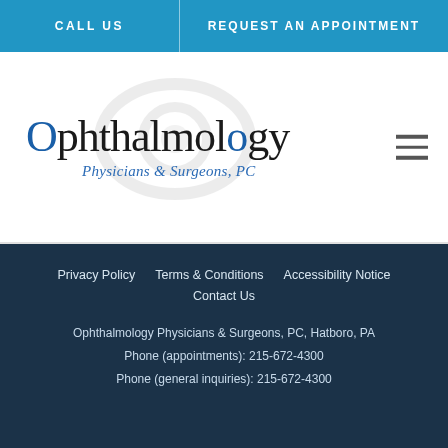CALL US | REQUEST AN APPOINTMENT
[Figure (logo): Ophthalmology Physicians & Surgeons, PC logo with eye watermark and hamburger menu icon]
Privacy Policy   Terms & Conditions   Accessibility Notice   Contact Us   Ophthalmology Physicians & Surgeons, PC, Hatboro, PA   Phone (appointments): 215-672-4300   Phone (general inquiries): 215-672-4300